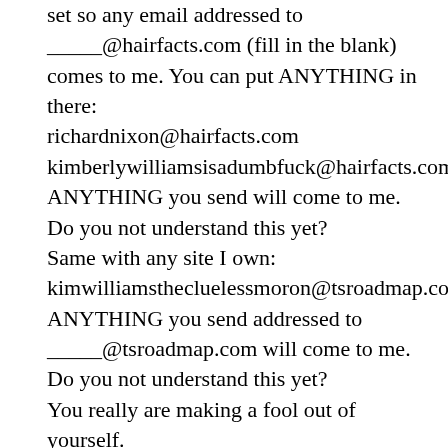set so any email addressed to _____@hairfacts.com (fill in the blank) comes to me. You can put ANYTHING in there:
richardnixon@hairfacts.com
kimberlywilliamsisadumbfuck@hairfacts.com
ANYTHING you send will come to me. Do you not understand this yet?
Same with any site I own:
kimwilliamsthecluelessmoron@tsroadmap.com
ANYTHING you send addressed to _____@tsroadmap.com will come to me. Do you not understand this yet?
You really are making a fool out of yourself.